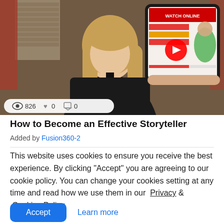[Figure (photo): Video thumbnail showing a woman with long blonde hair wearing a black outfit, seated in a cafe/restaurant setting. A tablet/screen showing 'Watch Online' content is visible in the upper right. Stats bar shows 826 views, 0 likes, 0 comments.]
How to Become an Effective Storyteller
Added by Fusion360-2
This website uses cookies to ensure you receive the best experience. By clicking "Accept" you are agreeing to our cookie policy. You can change your cookies setting at any time and read how we use them in our Privacy & Cookies Policy.
Accept  Learn more